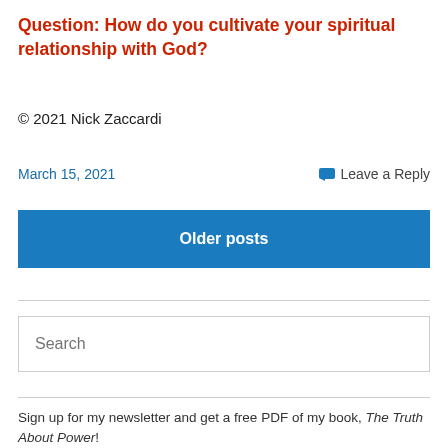Question: How do you cultivate your spiritual relationship with God?
© 2021 Nick Zaccardi
March 15, 2021
Leave a Reply
Older posts
Search
Sign up for my newsletter and get a free PDF of my book, The Truth About Power!